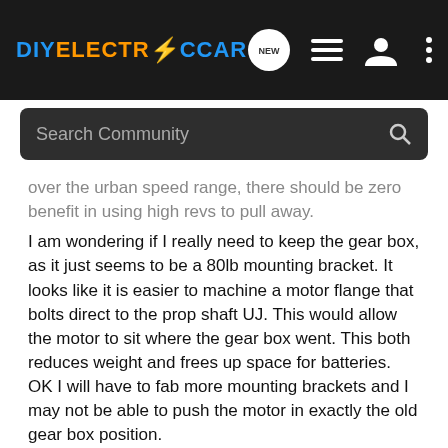DIYELECTRicCAR — navigation bar with logo, NEW button, list icon, user icon, and more icon
Search Community
over the urban speed range, there should be zero benefit in using high revs to pull away.
I am wondering if I really need to keep the gear box, as it just seems to be a 80lb mounting bracket. It looks like it is easier to machine a motor flange that bolts direct to the prop shaft UJ. This would allow the motor to sit where the gear box went. This both reduces weight and frees up space for batteries. OK I will have to fab more mounting brackets and I may not be able to push the motor in exactly the old gear box position.
So folks, here is my question, does anybody out there have figures for acceleration in different gears using an AC34/50 motor.